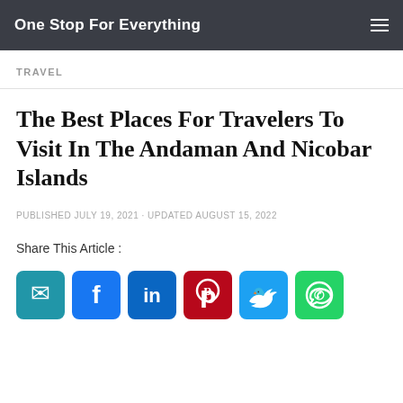One Stop For Everything
TRAVEL
The Best Places For Travelers To Visit In The Andaman And Nicobar Islands
PUBLISHED JULY 19, 2021 · UPDATED AUGUST 15, 2022
Share This Article :
[Figure (infographic): Social media share icons: Email, Facebook, LinkedIn, Pinterest, Twitter, WhatsApp]